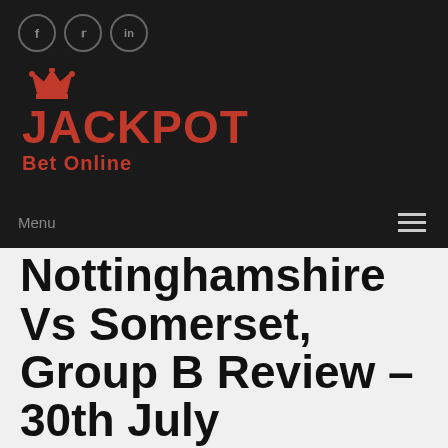[Figure (logo): Jackpot Bet Online logo with crown icon in red on dark background]
Menu
Nottinghamshire Vs Somerset, Group B Review – 30th July